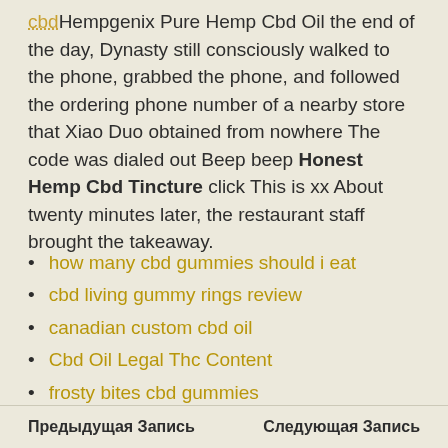cbd Hempgenix Pure Hemp Cbd Oil the end of the day, Dynasty still consciously walked to the phone, grabbed the phone, and followed the ordering phone number of a nearby store that Xiao Duo obtained from nowhere The code was dialed out Beep beep Honest Hemp Cbd Tincture click This is xx About twenty minutes later, the restaurant staff brought the takeaway.
how many cbd gummies should i eat
cbd living gummy rings review
canadian custom cbd oil
Cbd Oil Legal Thc Content
frosty bites cbd gummies
strongest cbd gummies
Предыдущая Запись    Следующая Запись